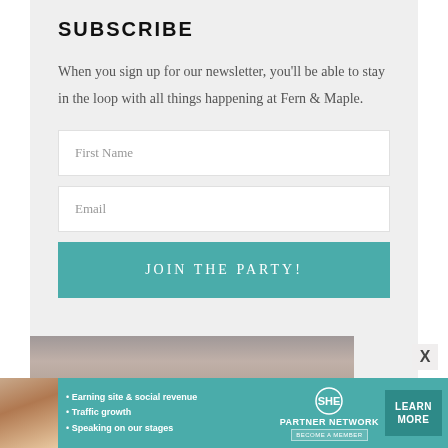SUBSCRIBE
When you sign up for our newsletter, you'll be able to stay in the loop with all things happening at Fern & Maple.
First Name
Email
JOIN THE PARTY!
[Figure (photo): Partial photo strip visible at the bottom of the subscribe section, showing an indoor scene with people.]
[Figure (infographic): SHE Partner Network advertisement banner with a woman photo on the left, bullet points: Earning site & social revenue, Traffic growth, Speaking on our stages, SHE PARTNER NETWORK logo, BECOME A MEMBER button, and LEARN MORE button on the right.]